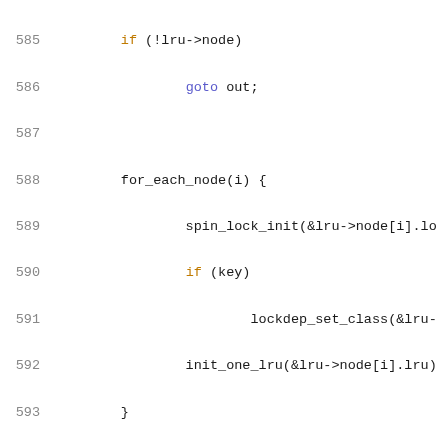Source code listing lines 585-605, C language kernel code involving list_lru initialization